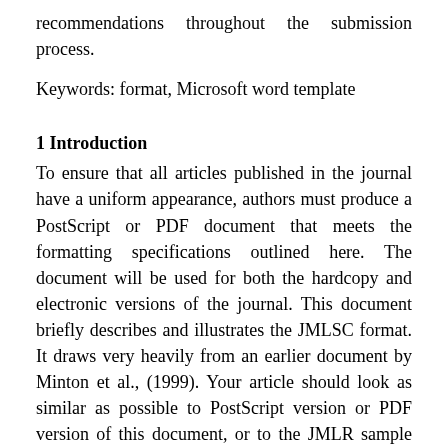recommendations throughout the submission process.
Keywords: format, Microsoft word template
1 Introduction
To ensure that all articles published in the journal have a uniform appearance, authors must produce a PostScript or PDF document that meets the formatting specifications outlined here. The document will be used for both the hardcopy and electronic versions of the journal. This document briefly describes and illustrates the JMLSC format. It draws very heavily from an earlier document by Minton et al., (1999). Your article should look as similar as possible to PostScript version or PDF version of this document, or to the JMLR sample article which can be found at http://e-jurnal.lppmunsera.org/index.php/JMLSC. Below we outline the basic specifications, including font